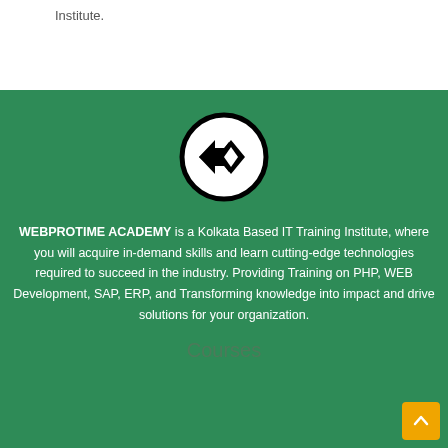Institute.
[Figure (logo): Webprotime Academy circular logo with stylized WP monogram in black and white]
WEBPROTIME ACADEMY is a Kolkata Based IT Training Institute, where you will acquire in-demand skills and learn cutting-edge technologies required to succeed in the industry. Providing Training on PHP, WEB Development, SAP, ERP, and Transforming knowledge into impact and drive solutions for your organization.
Courses